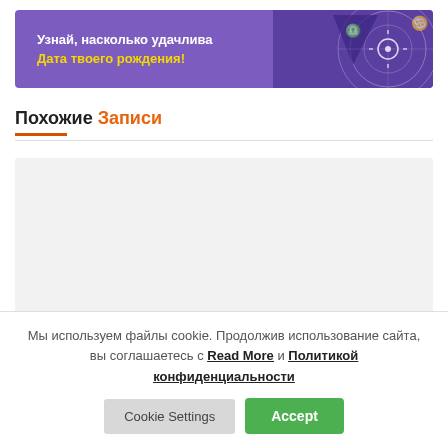[Figure (illustration): Purple banner advertisement with Russian text 'Узнай, насколько удачлива Дата твоего рождения!' and astrological zodiac wheel illustration on the right side]
Похожие Записи
[Figure (other): Light gray placeholder content area for related posts]
Мы используем файлы cookie. Продолжив использование сайта, вы соглашаетесь с Read More и Политикой конфиденциальности